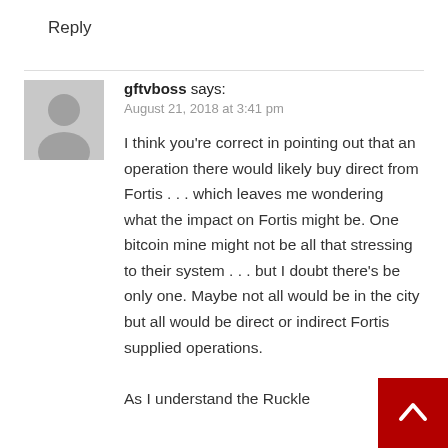Reply
gftvboss says:
August 21, 2018 at 3:41 pm
I think you're correct in pointing out that an operation there would likely buy direct from Fortis . . . which leaves me wondering what the impact on Fortis might be. One bitcoin mine might not be all that stressing to their system . . . but I doubt there's be only one. Maybe not all would be in the city but all would be direct or indirect Fortis supplied operations.
As I understand the Ruckle
[Figure (illustration): Red back-to-top button with white upward chevron arrow in bottom-right corner]